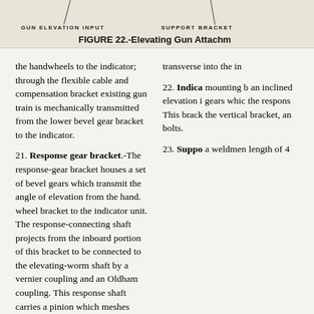[Figure (engineering-diagram): Top portion of Figure 22 showing Elevating Gun Attachment diagram with labels 'GUN ELEVATION INPUT' and 'SUPPORT BRACKET' with arrows pointing to components.]
FIGURE 22.-Elevating Gun Attachm...
the handwheels to the indicator; through the flexible cable and compensation bracket existing gun train is mechanically transmitted from the lower bevel gear bracket to the indicator.
21. Response gear bracket.-The response-gear bracket houses a set of bevel gears which transmit the angle of elevation from the hand. wheel bracket to the indicator unit. The response-connecting shaft projects from the inboard portion of this bracket to be connected to the elevating-worm shaft by a vernier coupling and an Oldham coupling. This response shaft carries a pinion which meshes with a bevel gear keyed on the end of the response cross shaft. This cross shaft extends through the
transverse into the ind...
22. Indica... mounting b an inclined elevation i gears whic the respons This brack the vertical bracket, an bolts.
23. Suppo a weldmen length of 4